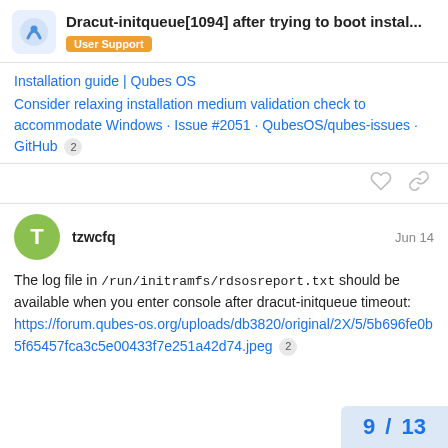Dracut-initqueue[1094] after trying to boot instal...
User Support
Installation guide | Qubes OS
Consider relaxing installation medium validation check to accommodate Windows · Issue #2051 · QubesOS/qubes-issues · GitHub 2
tzwcfq  Jun 14
The log file in /run/initramfs/rdsosreport.txt should be available when you enter console after dracut-initqueue timeout:
https://forum.qubes-os.org/uploads/db3820/original/2X/5/5b696fe0b5f65457fca3c5e00433f7e251a42d74.jpeg 2
9 / 13